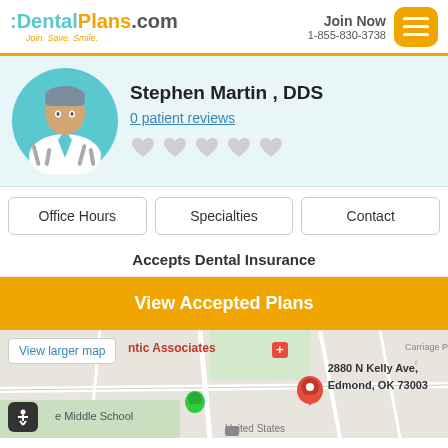[Figure (logo): DentalPlans.com logo with tagline Join. Save. Smile.]
Join Now
1-855-830-3738
Stephen Martin , DDS
0 patient reviews
Office Hours
Specialties
Contact
Accepts Dental Insurance
View Accepted Plans
[Figure (map): Google map showing location at 2880 N Kelly Ave, Edmond, OK 73003 with red pin marker and green pin nearby. Shows partial text of ntic Associates, Middle School, United States, Carriage Par, View larger map link.]